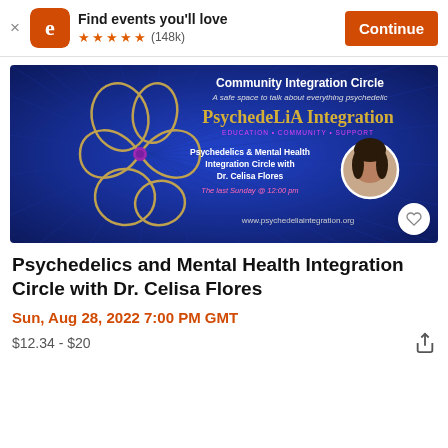Find events you'll love (148k) Continue
[Figure (illustration): Eventbrite event banner for Psychedelics and Mental Health Integration Circle with Dr. Celisa Flores featuring blue radial background, golden knot logo, Community Integration Circle title, PsychedeLiA Integration branding, and a circular portrait photo of Dr. Flores.]
Psychedelics and Mental Health Integration Circle with Dr. Celisa Flores
Sun, Aug 28, 2022 7:00 PM GMT
$12.34 - $20